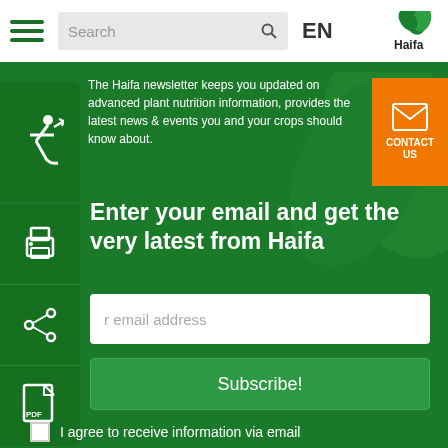[Figure (screenshot): Navigation bar with hamburger menu, search box, EN language selector, and Haifa logo]
The Haifa newsletter keeps you updated on advanced plant nutrition information, provides the latest news & events you and your crops should know about.
Enter your email and get the very latest from Haifa
r email address
Subscribe!
I agree to receive information via email